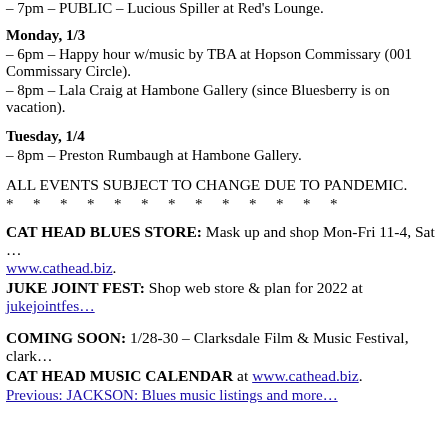– 7pm – PUBLIC – Lucious Spiller at Red's Lounge.
Monday, 1/3
– 6pm – Happy hour w/music by TBA at Hopson Commissary (001 Commissary Circle).
– 8pm – Lala Craig at Hambone Gallery (since Bluesberry is on vacation).
Tuesday, 1/4
– 8pm – Preston Rumbaugh at Hambone Gallery.
ALL EVENTS SUBJECT TO CHANGE DUE TO PANDEMIC.
* * * * * * * * * * * * *
CAT HEAD BLUES STORE: Mask up and shop Mon-Fri 11-4, Sat … www.cathead.biz.
JUKE JOINT FEST: Shop web store & plan for 2022 at jukejointfes…
COMING SOON: 1/28-30 – Clarksdale Film & Music Festival, clark…
CAT HEAD MUSIC CALENDAR at www.cathead.biz.
Previous: JACKSON: Blues music listings and more…